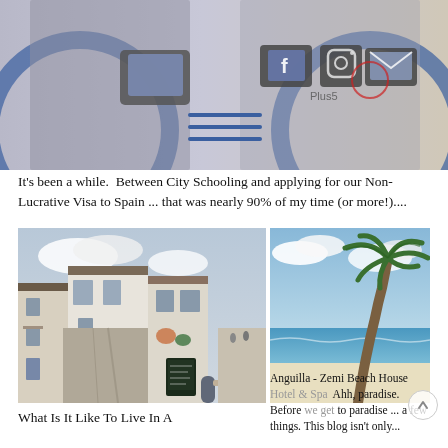[Figure (photo): Header photo showing two people holding up phones/tablets with social media icons (Facebook, Instagram, email) overlaid, with a hamburger menu icon below. Blue circular design in background.]
It's been a while.  Between City Schooling and applying for our Non-Lucrative Visa to Spain ... that was nearly 90% of my time (or more!)....
[Figure (photo): Left photo: A narrow cobblestone street in a Spanish village with white-washed buildings and a small cafe with a chalkboard sign.]
[Figure (photo): Right photo: A palm tree on a white sandy beach with turquoise water and blue sky — Anguilla, Zemi Beach House Hotel & Spa.]
Anguilla - Zemi Beach House Hotel & Spa   Ahh, paradise. Before we get to paradise ... a few things. This blog isn't only...
What Is It Like To Live In A